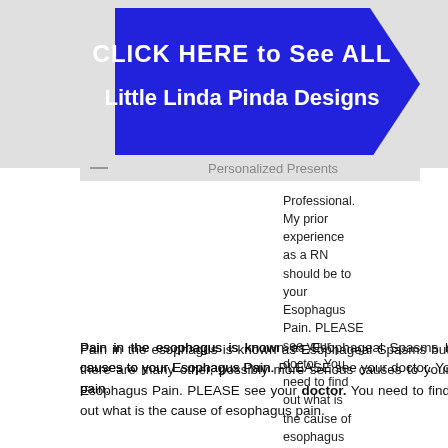[Figure (illustration): Blue arrow-shaped banner with white bold text reading 'CLICK HERE to See ALL Little Linda Pinda Designs' on a light gray background]
Personalized Presents
Professional. My prior experience as a RN should be to your Esophagus Pain. PLEASE see your doctor. You need to find out what is the cause of esophagus pain. prepared as my interest in healthy living. has been a very long time since working as a nurse.
Pain in the esophagus is known as Esophageal Spasms but there are many other, possibly more serious causes to your Esophagus Pain. PLEASE see your doctor. You need to find out what is the cause of esophagus pain.
Take head of the serious WARNING. See your doctor because Esophageal Spasm Symptoms can mimic Heart Attack Symptoms. Esophagus and chest pain can also be a symptom of another Esophagus Illness, as in my Mom's case.
It is always best to go to the emergency room or call 911 if